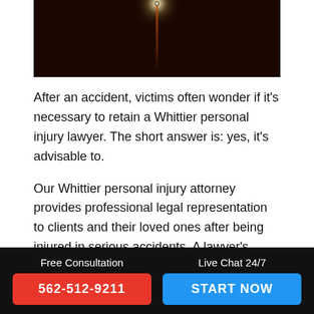[Figure (photo): Dark nighttime photo showing a glowing light source at top center with a vertical streak of reddish-orange light descending downward against a near-black background.]
After an accident, victims often wonder if it's necessary to retain a Whittier personal injury lawyer. The short answer is: yes, it's advisable to.
Our Whittier personal injury attorney provides professional legal representation to clients and their loved ones after being injured in serious accidents. A lawyer's experience and knowledge are necessary when trying to recover full compensation for damages to help injured victims pay their bills. In
Free Consultation | 562-512-9211 | Live Chat 24/7 | START NOW